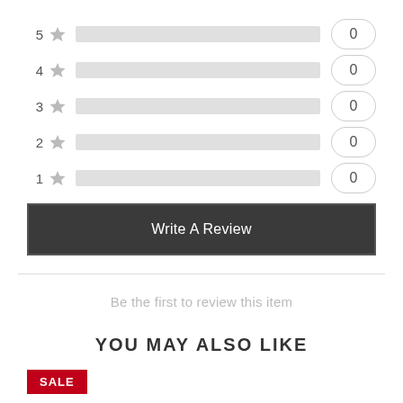[Figure (bar-chart): Star rating distribution]
Write A Review
Be the first to review this item
YOU MAY ALSO LIKE
SALE